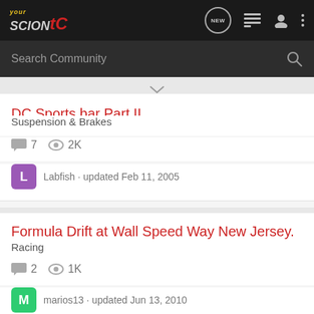your Scion tC - community forum header with navigation icons (NEW, list, user, more)
Search Community
DC Sports bar Part II
Suspension & Brakes
7 comments  2K views
Labfish · updated Feb 11, 2005
Formula Drift at Wall Speed Way New Jersey.
Racing
2 comments  1K views
marios13 · updated Jun 13, 2010